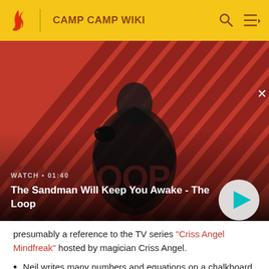CAMP CAMP WIKI
[Figure (screenshot): Video thumbnail showing a dark-cloaked figure with a raven on their shoulder against a red diagonal striped background. The Loop promotional image. Overlay text: WATCH • 01:40. Title: The Sandman Will Keep You Awake - The Loop. Play button visible.]
presumably a reference to the TV series "Criss Angel Mindfreak" hosted by magician Criss Angel.
Neil writes many numbers and equations on a chalkboard in an attempt to understand how Harrison did the trick. Among these, the quadratic formula is